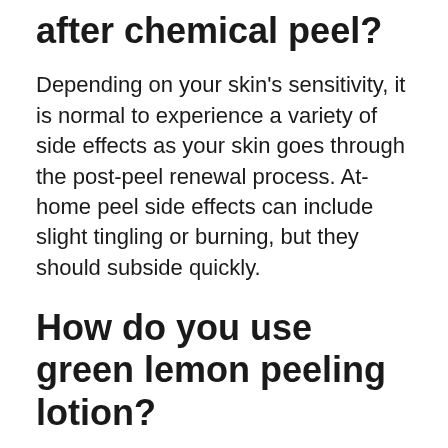after chemical peel?
Depending on your skin's sensitivity, it is normal to experience a variety of side effects as your skin goes through the post-peel renewal process. At-home peel side effects can include slight tingling or burning, but they should subside quickly.
How do you use green lemon peeling lotion?
Apply thinly once a day to the part of your skin you want to peel off. Used once a day only. Wait for atleast 2-3 days for your old skin to peel off. DO NOT FORCE THE SKIN TO PEEL OFF, wait until your skin will loosen from the new skin before you rub it off.